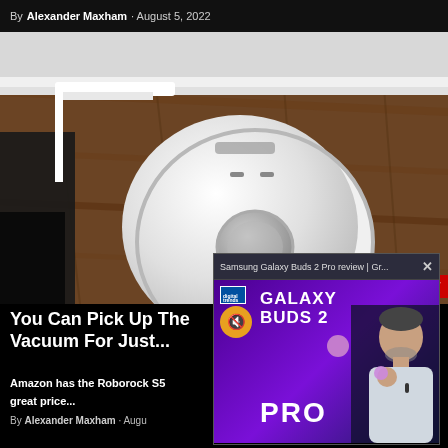By Alexander Maxham · August 5, 2022
[Figure (photo): A white Roborock robot vacuum cleaner sitting on wooden floor next to a white baseboard, with charging cables and a dock visible.]
[Figure (screenshot): Ad popup: Samsung Galaxy Buds 2 Pro review | Gr... with a close button X, showing purple background with GALAXY BUDS 2 PRO text and a presenter holding earbuds.]
You Can Pick Up The Vacuum For Just...
Amazon has the Roborock S5 great price...
By Alexander Maxham · Augu